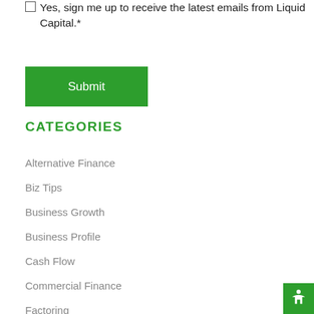Yes, sign me up to receive the latest emails from Liquid Capital.*
Submit
CATEGORIES
Alternative Finance
Biz Tips
Business Growth
Business Profile
Cash Flow
Commercial Finance
Factoring
Case Studies